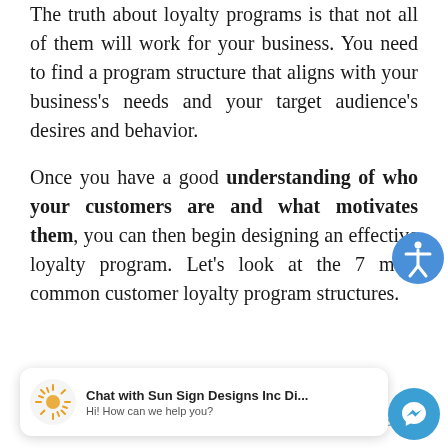The truth about loyalty programs is that not all of them will work for your business. You need to find a program structure that aligns with your business's needs and your target audience's desires and behavior.

Once you have a good understanding of who your customers are and what motivates them, you can then begin designing an effective loyalty program. Let's look at the 7 most common customer loyalty program structures.
Points Program
Point-based customer loyalty programs
[Figure (screenshot): Chat widget overlay showing 'Chat with Sun Sign Designs Inc Di...' with subtitle 'Hi! How can we help you?' and a sun logo icon on the left and Facebook Messenger button on the right.]